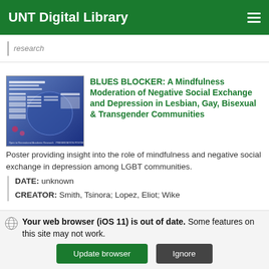UNT Digital Library
research
[Figure (screenshot): Thumbnail of a research poster with blue background and white text blocks, titled Blues Blocker]
BLUES BLOCKER: A Mindfulness Moderation of Negative Social Exchange and Depression in Lesbian, Gay, Bisexual & Transgender Communities
Poster providing insight into the role of mindfulness and negative social exchange in depression among LGBT communities.
DATE: unknown
CREATOR: Smith, Tsinora; Lopez, Eliot; Wike
Your web browser (iOS 11) is out of date. Some features on this site may not work.